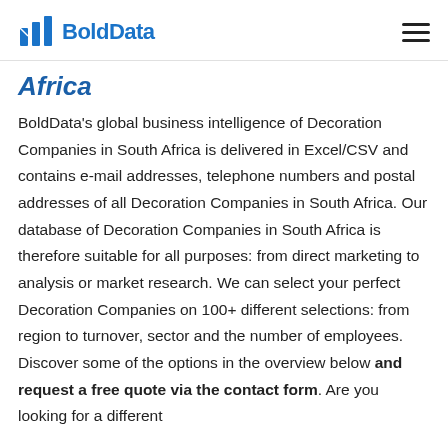BoldData
Africa
BoldData's global business intelligence of Decoration Companies in South Africa is delivered in Excel/CSV and contains e-mail addresses, telephone numbers and postal addresses of all Decoration Companies in South Africa. Our database of Decoration Companies in South Africa is therefore suitable for all purposes: from direct marketing to analysis or market research. We can select your perfect Decoration Companies on 100+ different selections: from region to turnover, sector and the number of employees. Discover some of the options in the overview below and request a free quote via the contact form. Are you looking for a different